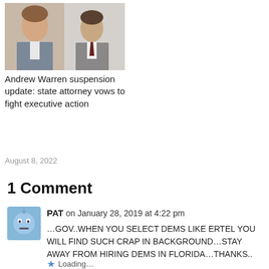[Figure (photo): Two men in suits — one gesturing while speaking, another standing in background]
Andrew Warren suspension update: state attorney vows to fight executive action
August 8, 2022
1 Comment
[Figure (photo): User avatar: blue square with cartoon face]
PAT on January 28, 2019 at 4:22 pm
...GOV..WHEN YOU SELECT DEMS LIKE ERTEL YOU WILL FIND SUCH CRAP IN BACKGROUND...STAY AWAY FROM HIRING DEMS IN FLORIDA...THANKS..
Loading...